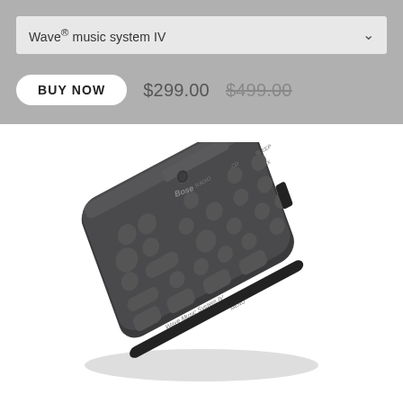Wave® music system IV
BUY NOW  $299.00  $499.00
[Figure (photo): Bose Wave Music System IV remote control, dark gray/black rounded rectangular device with multiple buttons, photographed at an angle on white background]